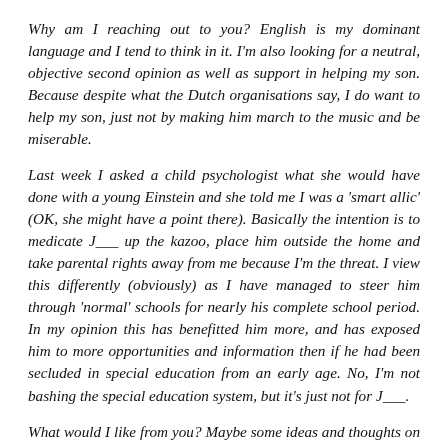Why am I reaching out to you? English is my dominant language and I tend to think in it. I'm also looking for a neutral, objective second opinion as well as support in helping my son. Because despite what the Dutch organisations say, I do want to help my son, just not by making him march to the music and be miserable.
Last week I asked a child psychologist what she would have done with a young Einstein and she told me I was a 'smart allic' (OK, she might have a point there). Basically the intention is to medicate J___ up the kazoo, place him outside the home and take parental rights away from me because I'm the threat. I view this differently (obviously) as I have managed to steer him through 'normal' schools for nearly his complete school period. In my opinion this has benefitted him more, and has exposed him to more opportunities and information then if he had been secluded in special education from an early age. No, I'm not bashing the special education system, but it's just not for J___.
What would I like from you? Maybe some ideas and thoughts on how to teach J___ to deal with his problems and get a handle on things. My partner and I don't think it's a problem if he 'hangs